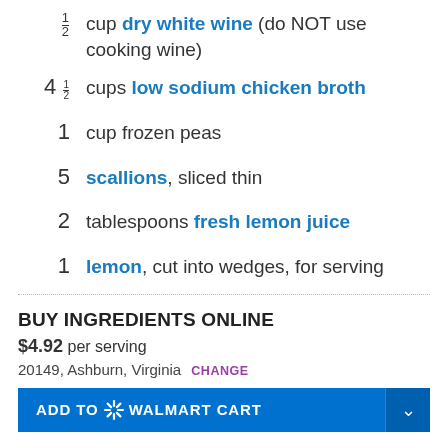1/2 cup dry white wine (do NOT use cooking wine)
4 1/2 cups low sodium chicken broth
1 cup frozen peas
5 scallions, sliced thin
2 tablespoons fresh lemon juice
1 lemon, cut into wedges, for serving
BUY INGREDIENTS ONLINE
$4.92 per serving
20149, Ashburn, Virginia CHANGE
ADD TO Walmart CART